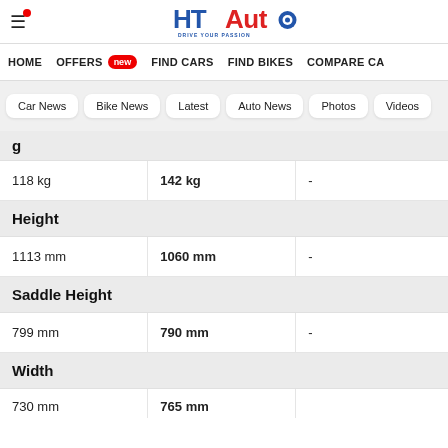HT Auto - Drive Your Passion
HOME  OFFERS new  FIND CARS  FIND BIKES  COMPARE CA
Car News  Bike News  Latest  Auto News  Photos  Videos
|  |  |  |
| --- | --- | --- |
| (section) Weight (partial) |  |  |
| 118 kg | 142 kg | - |
| (section) Height |  |  |
| 1113 mm | 1060 mm | - |
| (section) Saddle Height |  |  |
| 799 mm | 790 mm | - |
| (section) Width |  |  |
| 730 mm (partial) | 765 mm (partial) |  |